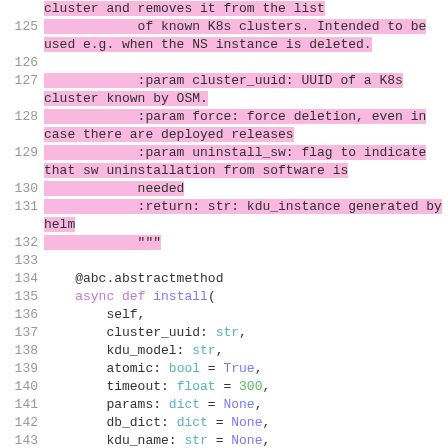code block showing Python source lines 125-143 with docstring and method definition
cluster and removes it from the list
125    of known K8s clusters. Intended to be used e.g. when the NS instance is deleted.
126
127    :param cluster_uuid: UUID of a K8s cluster known by OSM.
128    :param force: force deletion, even in case there are deployed releases
129    :param uninstall_sw: flag to indicate that sw uninstallation from software is
130    needed
131    :return: str: kdu_instance generated by helm
132    """
133
134    @abc.abstractmethod
135    async def install(
136        self,
137        cluster_uuid: str,
138        kdu_model: str,
139        atomic: bool = True,
140        timeout: float = 300,
141        params: dict = None,
142        db_dict: dict = None,
143        kdu_name: str = None,